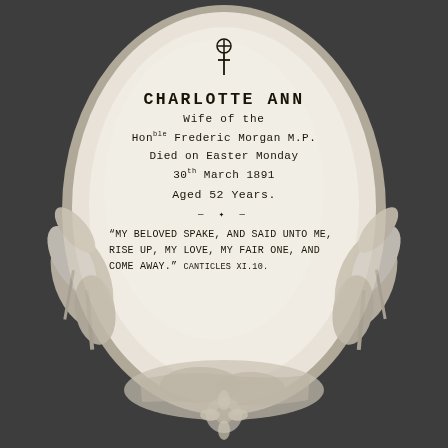[Figure (photo): A white marble oval memorial plaque with carved floral (lily) decoration around the edges and a reclining figure at the bottom. A cross is carved at the top of the plaque. The plaque is mounted against a dark grey stone background.]
CHARLOTTE ANN
WIFE OF THE
HonBLE Frederic Morgan M.P.
Died on Easter Monday
30TH March 1891
Aged 52 Years.

"My beloved spake, and said unto me, Rise up, my love, my fair one, and come away." Canticles XI.10.